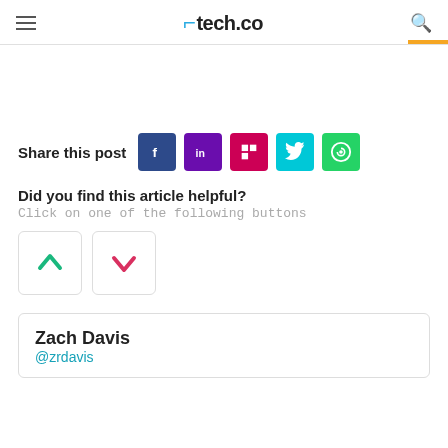tech.co
Share this post
[Figure (infographic): Social share buttons: Facebook (blue), LinkedIn (purple), Flipboard (pink/red), Twitter (cyan), WhatsApp (green)]
Did you find this article helpful?
Click on one of the following buttons
[Figure (infographic): Two vote buttons: thumbs up (green chevron up) and thumbs down (pink/red chevron down)]
Zach Davis
@zrdavis